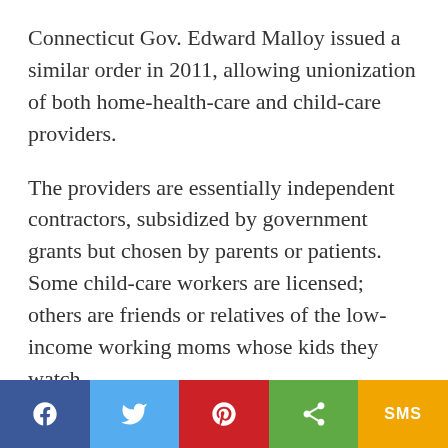Connecticut Gov. Edward Malloy issued a similar order in 2011, allowing unionization of both home-health-care and child-care providers.
The providers are essentially independent contractors, subsidized by government grants but chosen by parents or patients. Some child-care workers are licensed; others are friends or relatives of the low-income working moms whose kids they watch.
In New York, about 32,000 child-care providers in New York City were organized by the United
[Figure (infographic): Social media share bar with five buttons: Facebook (dark blue), Twitter (light blue), Pinterest (red), Share/generic (green), SMS (gold/amber)]